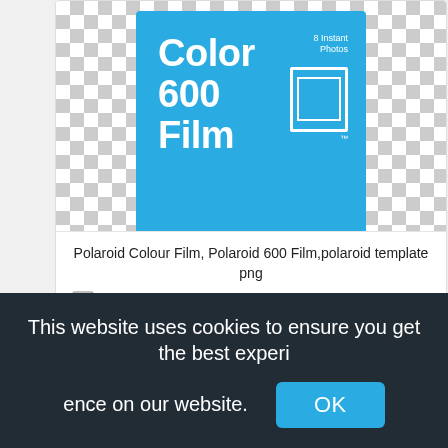[Figure (screenshot): Polaroid Color 600 Film product image on a transparent (checkerboard) background. Blue box with white text reading 'Color 600 Film' and '8 Instant Photos' with a white film frame icon.]
Polaroid Colour Film, Polaroid 600 Film,polaroid template png
529x472px
[Figure (screenshot): Partial view of another image with checkerboard transparency pattern visible at the bottom of the page.]
This website uses cookies to ensure you get the best experience on our website.